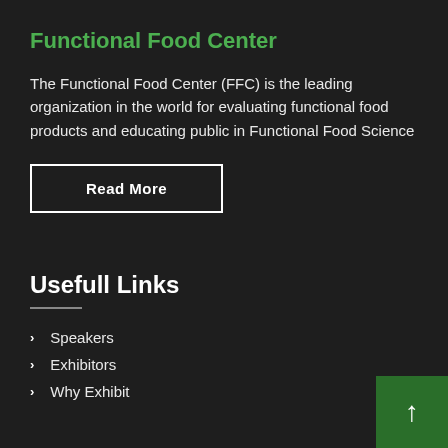Functional Food Center
The Functional Food Center (FFC) is the leading organization in the world for evaluating functional food products and educating public in Functional Food Science
Read More
Usefull Links
Speakers
Exhibitors
Why Exhibit